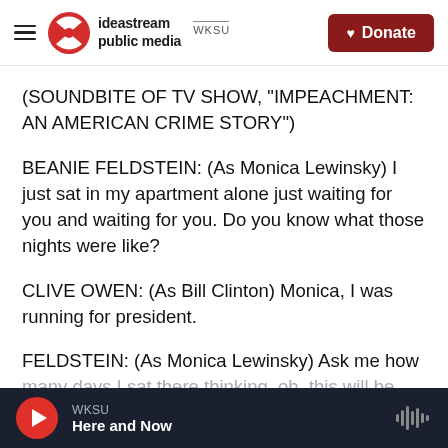ideastream public media WKSU — Donate
(SOUNDBITE OF TV SHOW, "IMPEACHMENT: AN AMERICAN CRIME STORY")
BEANIE FELDSTEIN: (As Monica Lewinsky) I just sat in my apartment alone just waiting for you and waiting for you. Do you know what those nights were like?
CLIVE OWEN: (As Bill Clinton) Monica, I was running for president.
FELDSTEIN: (As Monica Lewinsky) Ask me how many days I sat there thinking, oh, this will be
WKSU — Here and Now